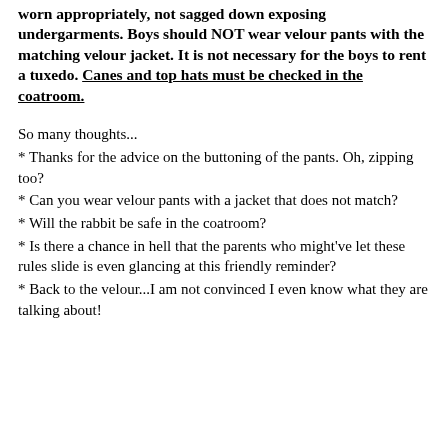worn appropriately, not sagged down exposing undergarments. Boys should NOT wear velour pants with the matching velour jacket. It is not necessary for the boys to rent a tuxedo. Canes and top hats must be checked in the coatroom.
So many thoughts...
* Thanks for the advice on the buttoning of the pants. Oh, zipping too?
* Can you wear velour pants with a jacket that does not match?
* Will the rabbit be safe in the coatroom?
* Is there a chance in hell that the parents who might've let these rules slide is even glancing at this friendly reminder?
* Back to the velour...I am not convinced I even know what they are talking about!